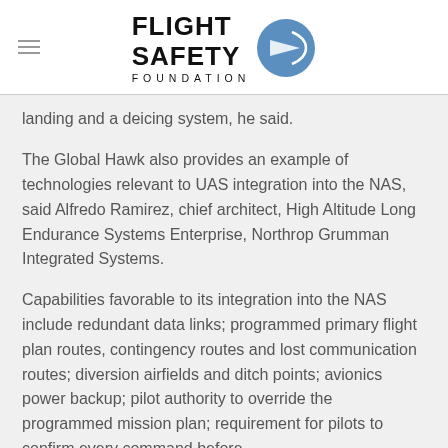Flight Safety Foundation
landing and a deicing system, he said.
The Global Hawk also provides an example of technologies relevant to UAS integration into the NAS, said Alfredo Ramirez, chief architect, High Altitude Long Endurance Systems Enterprise, Northrop Grumman Integrated Systems.
Capabilities favorable to its integration into the NAS include redundant data links; programmed primary flight plan routes, contingency routes and lost communication routes; diversion airfields and ditch points; avionics power backup; pilot authority to override the programmed mission plan; requirement for pilots to confirm every command before